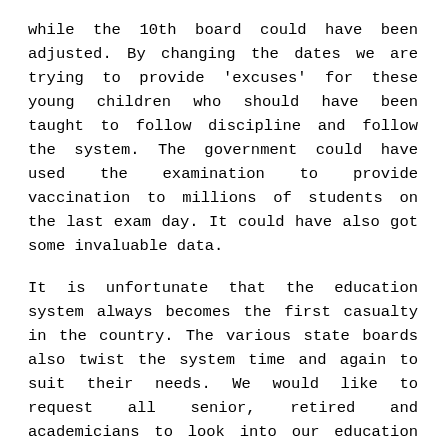while the 10th board could have been adjusted. By changing the dates we are trying to provide 'excuses' for these young children who should have been taught to follow discipline and follow the system. The government could have used the examination to provide vaccination to millions of students on the last exam day. It could have also got some invaluable data.
It is unfortunate that the education system always becomes the first casualty in the country. The various state boards also twist the system time and again to suit their needs. We would like to request all senior, retired and academicians to look into our education system and make it as good as our IITs. It is not about the exams but about building an education system that is credible and respected across the nation and the world.
The PM needs much wiser advisors and people